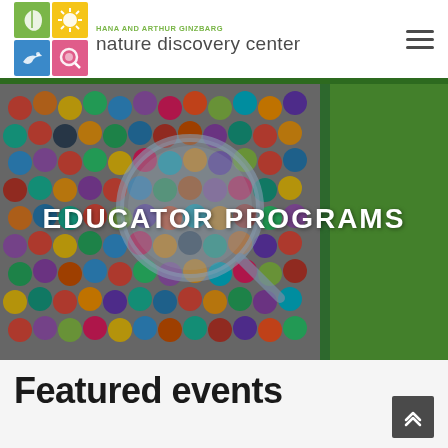[Figure (logo): Hana and Arthur Ginzbarg Nature Discovery Center logo with four colored grid squares (leaf/green, sun/yellow, bird/blue, brain/pink) and organization name]
[Figure (photo): Hero photo of colorful crayons/markers arranged in circles with a magnifying glass overlay, on grass background, with overlay text EDUCATOR PROGRAMS]
EDUCATOR PROGRAMS
Featured events